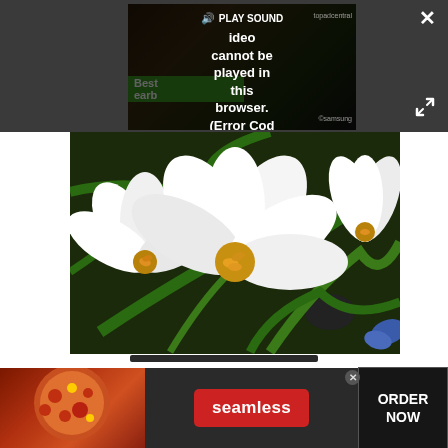[Figure (screenshot): Dark browser UI bar at top with a video player thumbnail showing a video error overlay. The video overlay reads: speaker icon, PLAY SOUND, 'Video cannot be played in this browser. (Error Cod'. A close X button is top right and an expand icon is at right center. Text 'topadcentral' watermark visible.]
[Figure (photo): Close-up photograph of white crocus flowers with orange/yellow stamens, against dark green foliage and black stones.]
[Figure (screenshot): Advertisement banner at the bottom: pizza image on left, red 'seamless' button in center, dark 'ORDER NOW' button on right, on dark background.]